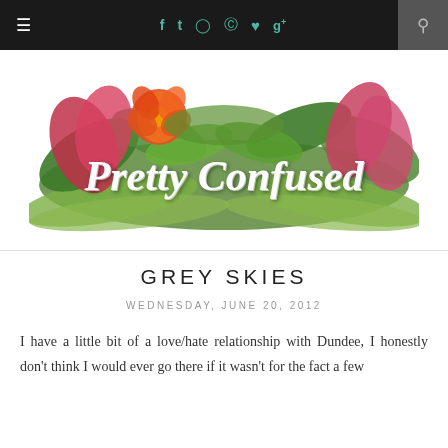≡  f  t  Instagram  Pinterest  ♥  g+  🔍
[Figure (logo): Pretty Confused blog logo with tropical flowers and leaves watercolor illustration, white script text reading 'Pretty Confused']
GREY SKIES
WEDNESDAY, JUNE 20, 2012
I have a little bit of a love/hate relationship with Dundee, I honestly don't think I would ever go there if it wasn't for the fact a few